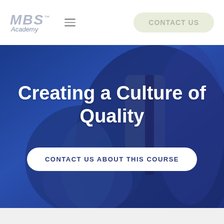[Figure (logo): MBS Academy logo with italic bold gray lettering and 'Academy' subtitle]
CONTACT US
[Figure (photo): Blue-tinted photo of a businessman in a suit giving a thumbs up gesture, with tie visible]
Creating a Culture of Quality
CONTACT US ABOUT THIS COURSE